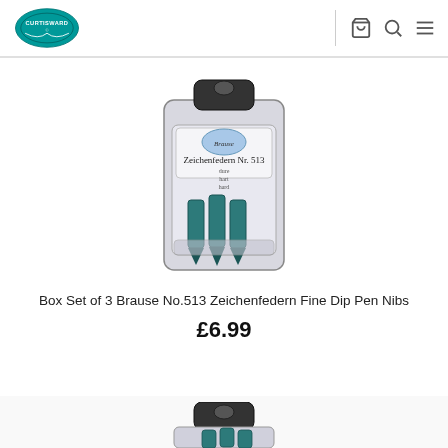Curtisward logo, cart icon, search icon, menu icon
[Figure (photo): Box Set of 3 Brause No.513 Zeichenfedern Fine Dip Pen Nibs product packaging — a plastic blister pack with a dark handle/hanger at top, containing three dark green metal pen nibs, with a label reading 'Zeichenfedern Nr. 513 dure hart hard' and a Brause oval logo.]
Box Set of 3 Brause No.513 Zeichenfedern Fine Dip Pen Nibs
£6.99
[Figure (photo): Partial view of a second product packaging at the bottom of the page, showing the top of another blister pack with a dark hanger and a glimpse of the product inside.]